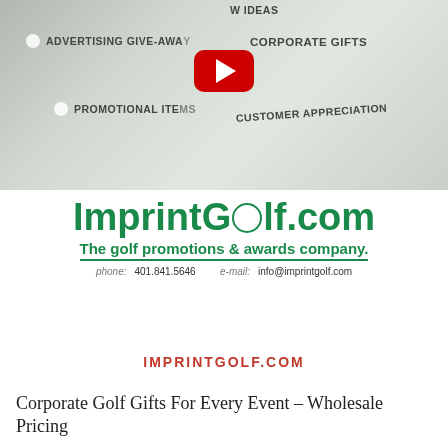[Figure (screenshot): Video thumbnail showing a blurred golf-themed background with text labels: 'NEW IDEAS', 'ADVERTISING GIVE-AWAYS', 'CORPORATE GIFTS', 'PROMOTIONAL ITEMS', 'CUSTOMER APPRECIATION', and a YouTube play button overlay]
[Figure (logo): ImprintGolf.com logo in green with tagline 'The golf promotions & awards company.' and contact info: phone 401.841.5646, e-mail info@imprintgolf.com]
IMPRINTGOLF.COM
Corporate Golf Gifts For Every Event – Wholesale Pricing